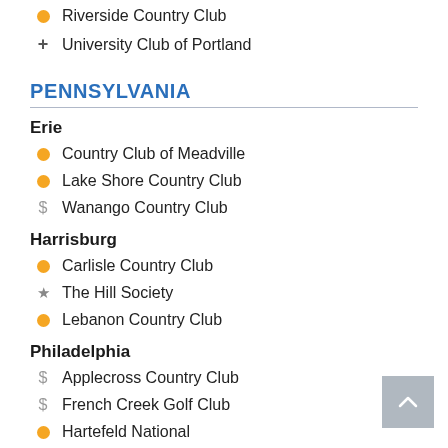Riverside Country Club
+ University Club of Portland
PENNSYLVANIA
Erie
Country Club of Meadville
Lake Shore Country Club
$ Wanango Country Club
Harrisburg
Carlisle Country Club
★ The Hill Society
Lebanon Country Club
Philadelphia
$ Applecross Country Club
$ French Creek Golf Club
Hartefeld National
Meadia Heights Golf Club